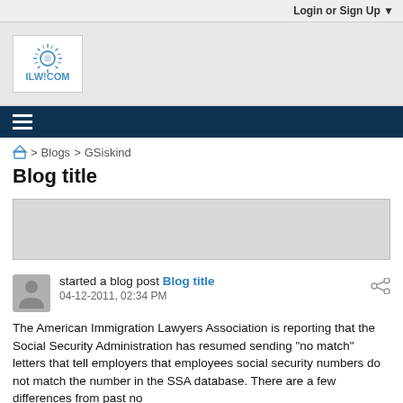Login or Sign Up ▼
[Figure (logo): ILW.COM logo with sun/spiky circle graphic above text ILW!COM]
≡ (navigation menu icon)
🏠 > Blogs > GSiskind
Blog title
[Figure (other): Advertisement/banner placeholder gray box]
started a blog post Blog title
04-12-2011, 02:34 PM
The American Immigration Lawyers Association is reporting that the Social Security Administration has resumed sending "no match" letters that tell employers that employees social security numbers do not match the number in the SSA database. There are a few differences from past no